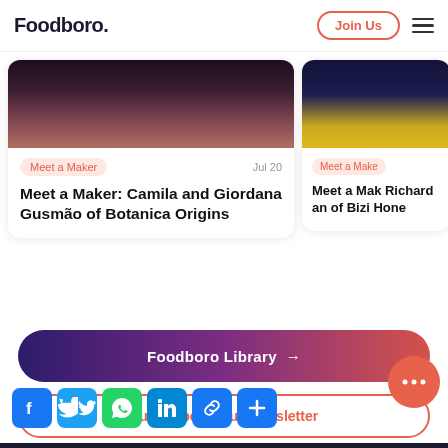Foodboro. | Join Us
[Figure (screenshot): Article card: Meet a Maker: Camila and Giordana Gusmão of Botanica Origins, Jul 20]
[Figure (screenshot): Article card (partial): Meet a Maker: Richard and ... of Bizi Hone...]
Foodboro Library →
Subscribe to Our Newsletter
[Figure (infographic): Social share icons: Facebook, Twitter, WhatsApp, LinkedIn, Link, Share More]